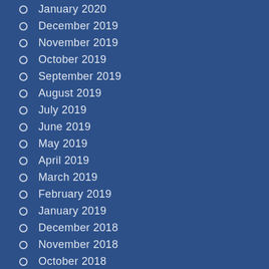January 2020
December 2019
November 2019
October 2019
September 2019
August 2019
July 2019
June 2019
May 2019
April 2019
March 2019
February 2019
January 2019
December 2018
November 2018
October 2018
September 2018